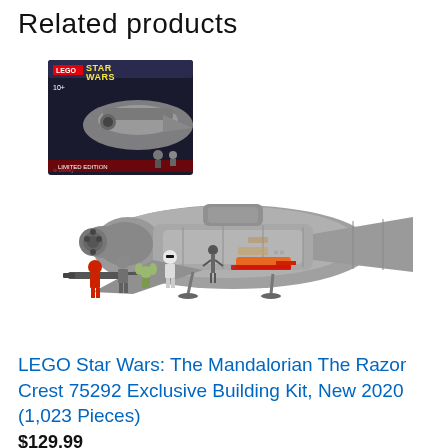Related products
[Figure (photo): LEGO Star Wars The Mandalorian The Razor Crest 75292 set product photo showing the assembled spaceship model in grey/silver color, alongside the product box featuring the Star Wars Mandalorian branding, and five mini-figures including The Mandalorian, Grogu (Baby Yoda), a stormtrooper, a figure in red, and a droid, plus an orange/red weapon accessory]
LEGO Star Wars: The Mandalorian The Razor Crest 75292 Exclusive Building Kit, New 2020 (1,023 Pieces)
$129.99